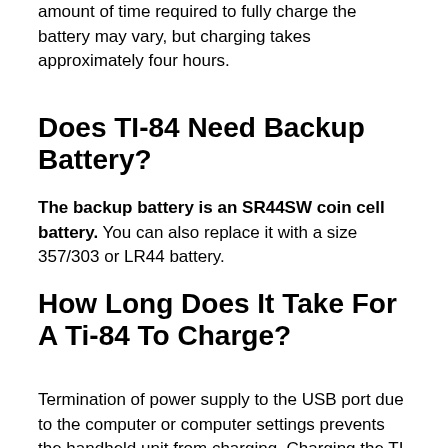amount of time required to fully charge the battery may vary, but charging takes approximately four hours.
Does TI-84 Need Backup Battery?
The backup battery is an SR44SW coin cell battery. You can also replace it with a size 357/303 or LR44 battery.
How Long Does It Take For A Ti-84 To Charge?
Termination of power supply to the USB port due to the computer or computer settings prevents the handheld unit from charging. Charging the TI-84 Plus